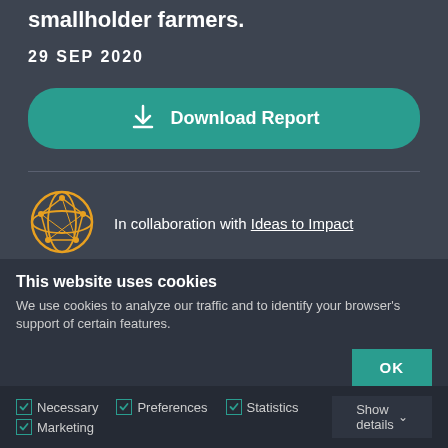smallholder farmers.
29 SEP 2020
Download Report
[Figure (logo): Orange circular globe/network icon for Ideas to Impact]
In collaboration with Ideas to Impact
This website uses cookies
We use cookies to analyze our traffic and to identify your browser's support of certain features.
OK
Necessary   Preferences   Statistics   Marketing   Show details